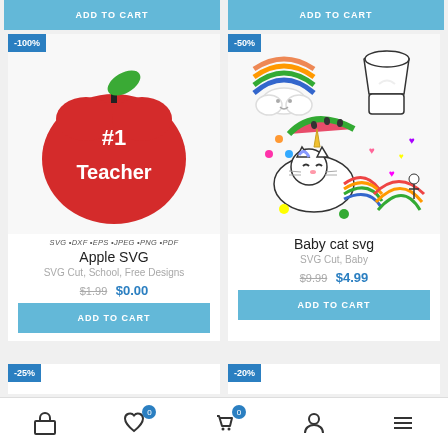[Figure (screenshot): E-commerce product listing page showing two product cards: Apple SVG (-100% discount, free) and Baby cat svg (-50% off, $4.99), with Add to Cart buttons and bottom navigation bar]
ADD TO CART
ADD TO CART
Apple SVG
SVG Cut, School, Free Designs
$1.99  $0.00
ADD TO CART
Baby cat svg
SVG Cut, Baby
$9.99  $4.99
ADD TO CART
-25%
-20%